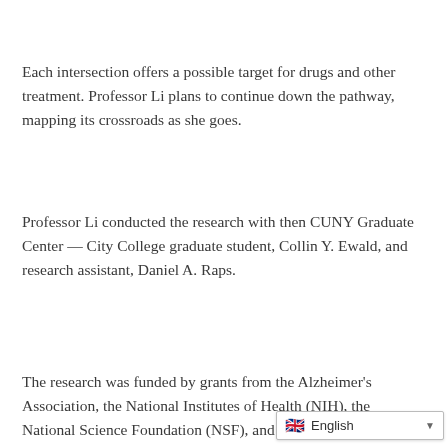Each intersection offers a possible target for drugs and other treatment. Professor Li plans to continue down the pathway, mapping its crossroads as she goes.
Professor Li conducted the research with then CUNY Graduate Center — City College graduate student, Collin Y. Ewald, and research assistant, Daniel A. Raps.
The research was funded by grants from the Alzheimer's Association, the National Institutes of Health (NIH), the National Science Foundation (NSF), and a NIH Research Centers in Minority Institutions grant to The City C[ollege]